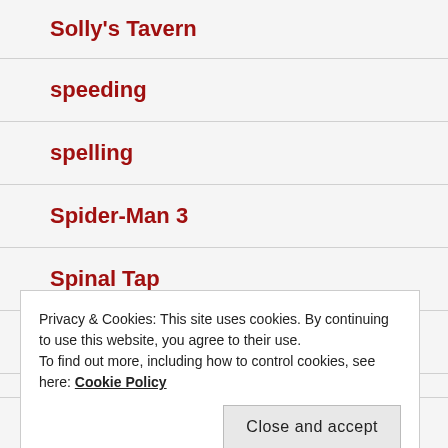Solly's Tavern
speeding
spelling
Spider-Man 3
Spinal Tap
sports names
Privacy & Cookies: This site uses cookies. By continuing to use this website, you agree to their use. To find out more, including how to control cookies, see here: Cookie Policy
Stan Bush